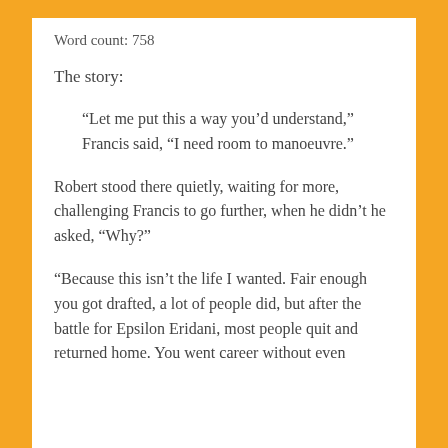Word count: 758
The story:
“Let me put this a way you’d understand,” Francis said, “I need room to manoeuvre.”
Robert stood there quietly, waiting for more, challenging Francis to go further, when he didn’t he asked, “Why?”
“Because this isn’t the life I wanted. Fair enough you got drafted, a lot of people did, but after the battle for Epsilon Eridani, most people quit and returned home. You went career without even